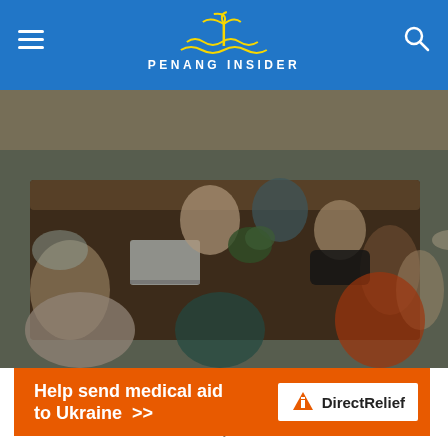PENANG INSIDER
[Figure (photo): Overhead view of a large group of people working on laptops around long wooden tables in a cafe setting — Gudang cafe interior]
Gudang cafe is among the largest Penang cafes, perfect for work sessions and groups. (image courtesy of Gudang Cafe's Facebook)
Gudang is a warehouse-style (hence the name in Malay)
[Figure (other): Orange advertisement banner: 'Help send medical aid to Ukraine >>' with Direct Relief logo on white background]